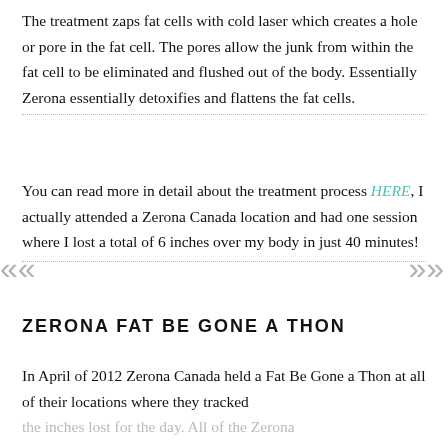The treatment zaps fat cells with cold laser which creates a hole or pore in the fat cell. The pores allow the junk from within the fat cell to be eliminated and flushed out of the body. Essentially Zerona essentially detoxifies and flattens the fat cells.
You can read more in detail about the treatment process HERE, I actually attended a Zerona Canada location and had one session where I lost a total of 6 inches over my body in just 40 minutes!
ZERONA FAT BE GONE A THON
In April of 2012 Zerona Canada held a Fat Be Gone a Thon at all of their locations where they tracked the inches lost for the day. All of the Zerona